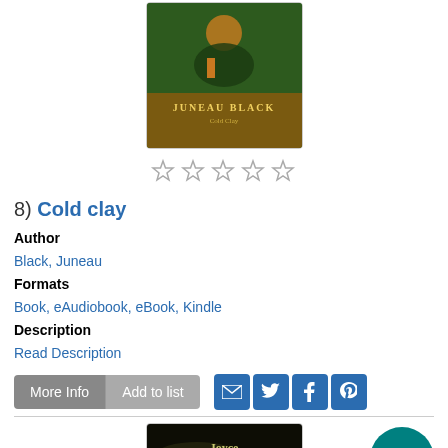[Figure (illustration): Book cover for 'Cold clay' by Juneau Black, showing a dark green illustrated cover with 'JUNEAU BLACK' text visible]
[Figure (other): Five empty star rating icons in a row]
8) Cold clay
Author
Black, Juneau
Formats
Book, eAudiobook, eBook, Kindle
Description
Read Description
[Figure (other): Action buttons: More Info, Add to list, and social sharing icons for email, Twitter, Facebook, Pinterest]
[Figure (illustration): Book cover for Joyce Carol Oates novel 'Missing M...' with dark background and yellow-green text]
[Figure (other): Circular teal scroll-to-top button with upward arrow icon]